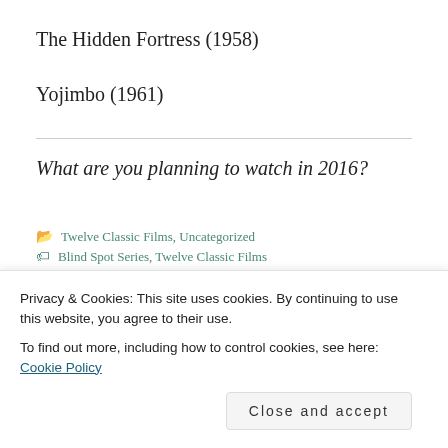The Hidden Fortress (1958)
Yojimbo (1961)
What are you planning to watch in 2016?
Twelve Classic Films, Uncategorized
Blind Spot Series, Twelve Classic Films
Privacy & Cookies: This site uses cookies. By continuing to use this website, you agree to their use.
To find out more, including how to control cookies, see here: Cookie Policy
Close and accept